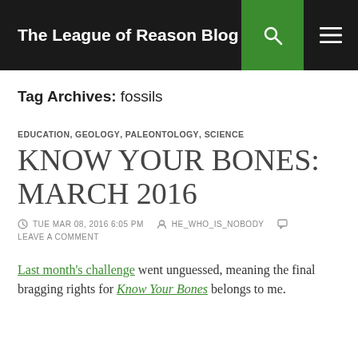The League of Reason Blog
Tag Archives: fossils
EDUCATION, GEOLOGY, PALEONTOLOGY, SCIENCE
KNOW YOUR BONES: MARCH 2016
TUE MAR 08, 2016 6:05 PM   HE_WHO_IS_NOBODY   LEAVE A COMMENT
Last month's challenge went unguessed, meaning the final bragging rights for Know Your Bones belongs to me.